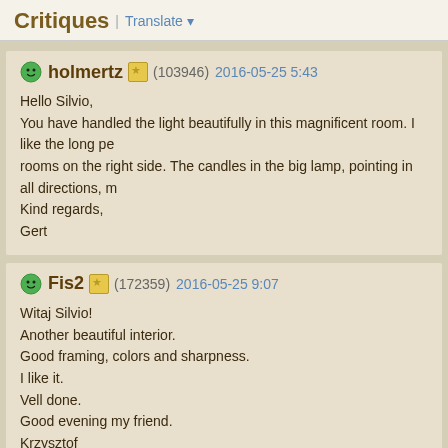Critiques | Translate
holmertz (103946) 2016-05-25 5:43
Hello Silvio,
You have handled the light beautifully in this magnificent room. I like the long pe rooms on the right side. The candles in the big lamp, pointing in all directions, m Kind regards,
Gert
Fis2 (172359) 2016-05-25 9:07
Witaj Silvio!
Another beautiful interior.
Good framing, colors and sharpness.
I like it.
Vell done.
Good evening my friend.
Krzysztof
gervaso (28555) 2016-05-25 9:25
Hello, Silvio!